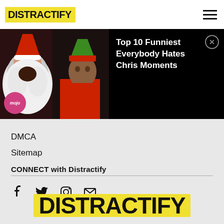DISTRACTIFY
[Figure (screenshot): Ad banner showing Santa Claus and a child dressed as an elf with WatchMojo branding, with text 'Top 10 Funniest Everybody Hates Chris Moments' and an X close button on black background]
DMCA
Sitemap
CONNECT with Distractify
[Figure (infographic): Social media icons: Facebook, Twitter, Instagram, Email]
[Figure (logo): Distractify logo in large bold black text on yellow brush stroke background]